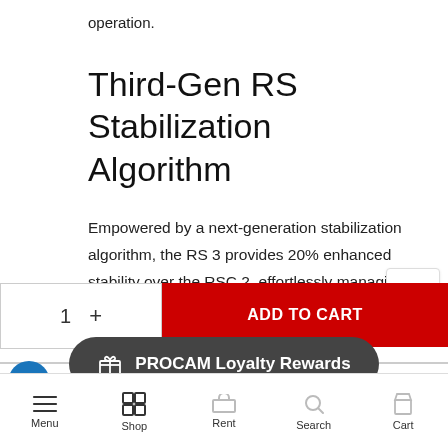operation.
Third-Gen RS Stabilization Algorithm
Empowered by a next-generation stabilization algorithm, the RS 3 provides 20% enhanced stability over the RSC 2, effortlessly managing low-angle shots, running scenarios, or switching between high and low
ADD TO CART
PROCAM Loyalty Rewards
Menu  Shop  Rent  Search  Cart